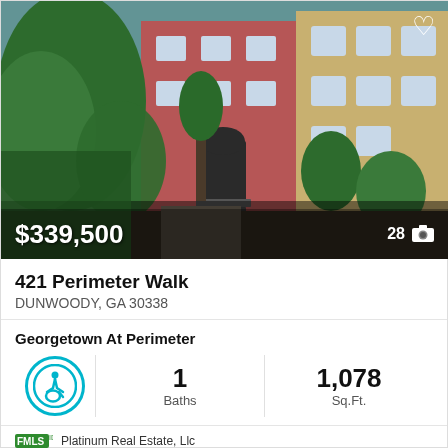[Figure (photo): Exterior photo of a multi-story townhouse/condo building with brick facade, trees and landscaping in front, pathway leading to entrance. Price overlay showing $339,500 and photo count 28.]
421 Perimeter Walk
DUNWOODY, GA 30338
Georgetown At Perimeter
1 Baths
1,078 Sq.Ft.
Platinum Real Estate, Llc